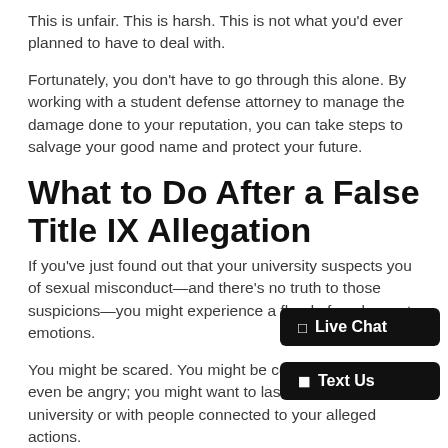This is unfair. This is harsh. This is not what you'd ever planned to have to deal with.
Fortunately, you don't have to go through this alone. By working with a student defense attorney to manage the damage done to your reputation, you can take steps to salvage your good name and protect your future.
What to Do After a False Title IX Allegation
If you've just found out that your university suspects you of sexual misconduct—and there's no truth to those suspicions—you might experience a flood of unpleasant emotions.
You might be scared. You might be confused. You might even be angry; you might want to lash out at your university or with people connected to your alleged actions.